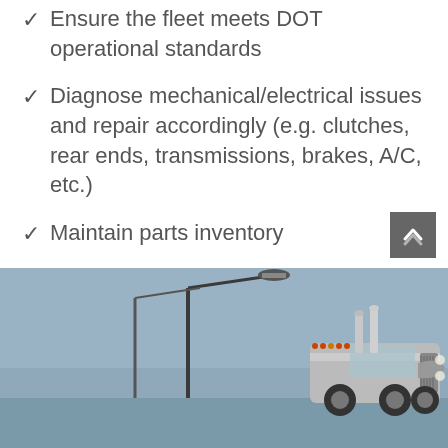Ensure the fleet meets DOT operational standards
Diagnose mechanical/electrical issues and repair accordingly (e.g. clutches, rear ends, transmissions, brakes, A/C, etc.)
Maintain parts inventory
Some tire work is involved, major jobs are outsourced
[Figure (photo): A semi truck cab visible from the side on a road, with a street lamp in the background against a blue-grey sky.]